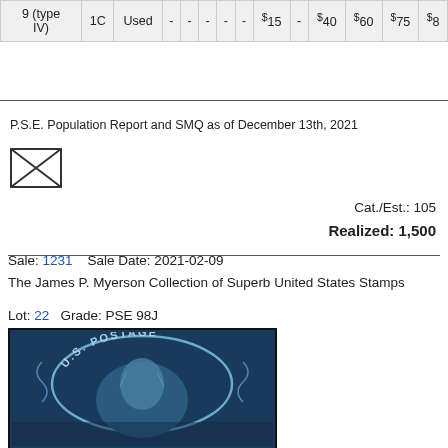| 9 (type IV) | 1C | Used | - | - | - | - | - | $15 | - | $40 | $60 | $75 | $8 |
| --- | --- | --- | --- | --- | --- | --- | --- | --- | --- | --- | --- | --- | --- |
P.S.E. Population Report and SMQ as of December 13th, 2021
[Figure (illustration): Envelope icon (crossed lines forming an X inside a rectangle)]
Cat./Est.: 105
Realized: 1,500
Sale: 1231    Sale Date: 2021-02-09
The James P. Myerson Collection of Superb United States Stamps
Lot: 22   Grade: PSE 98J
[Figure (photo): Photograph of a US postage stamp showing a blue portrait (Washington) with 'U.S. POSTAGE' text in an ornate arch, dark blue color, used condition]